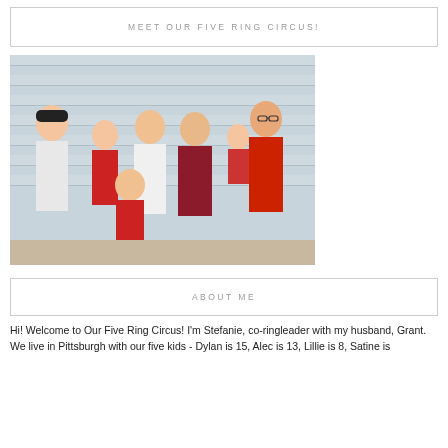MEET OUR FIVE RING CIRCUS!
[Figure (photo): Family photo of seven people including parents and five children, standing outdoors in front of a light blue/gray wooden siding wall. Several people wearing red clothing. Man in red shirt on right holding a baby.]
ABOUT ME
Hi! Welcome to Our Five Ring Circus! I'm Stefanie, co-ringleader with my husband, Grant. We live in Pittsburgh with our five kids - Dylan is 15, Alec is 13, Lillie is 8, Satine is 4, and Liam is...